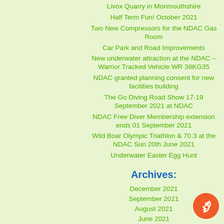Livox Quarry in Monmouthshire
Half Term Fun! October 2021
Two New Compressors for the NDAC Gas Room
Car Park and Road Improvements
New underwater attraction at the NDAC – Warrior Tracked Vehicle WR 38KG35
NDAC granted planning consent for new facilities building
The Go Diving Road Show 17-19 September 2021 at NDAC
NDAC Free Diver Membership extension ends 01 September 2021
Wild Boar Olympic Triathlon & 70.3 at the NDAC Sun 20th June 2021
Underwater Easter Egg Hunt
Archives:
December 2021
September 2021
August 2021
June 2021